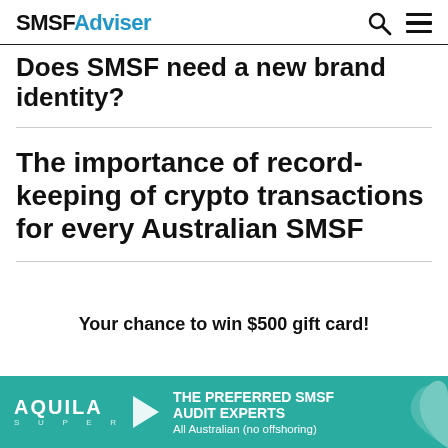SMSFAdviser
Does SMSF need a new brand identity?
The importance of record-keeping of crypto transactions for every Australian SMSF
Your chance to win $500 gift card!
[Figure (infographic): Aquila Super banner advertisement: THE PREFERRED SMSF AUDIT EXPERTS, All Australian (no offshoring)]